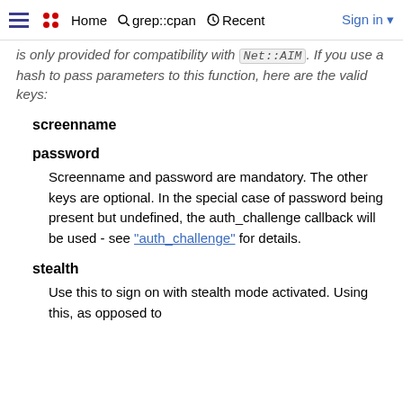Home  grep::cpan  Recent  Sign in
is only provided for compatibility with Net::AIM. If you use a hash to pass parameters to this function, here are the valid keys:
screenname
password
Screenname and password are mandatory. The other keys are optional. In the special case of password being present but undefined, the auth_challenge callback will be used - see "auth_challenge" for details.
stealth
Use this to sign on with stealth mode activated. Using this, as opposed to